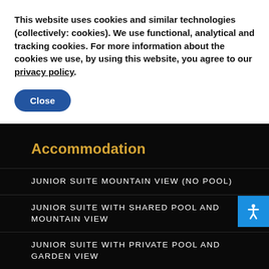This website uses cookies and similar technologies (collectively: cookies). We use functional, analytical and tracking cookies. For more information about the cookies we use, by using this website, you agree to our privacy policy.
Close
Accommodation
JUNIOR SUITE MOUNTAIN VIEW (NO POOL)
JUNIOR SUITE WITH SHARED POOL AND MOUNTAIN VIEW
JUNIOR SUITE WITH PRIVATE POOL AND GARDEN VIEW
JUNIOR SUITE WITH PRIVATE POOL AND MOUNTAIN VIEW